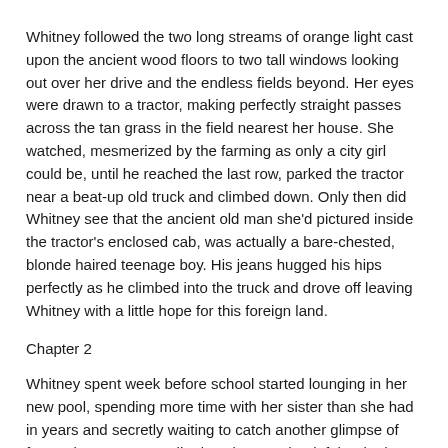Whitney followed the two long streams of orange light cast upon the ancient wood floors to two tall windows looking out over her drive and the endless fields beyond. Her eyes were drawn to a tractor, making perfectly straight passes across the tan grass in the field nearest her house. She watched, mesmerized by the farming as only a city girl could be, until he reached the last row, parked the tractor near a beat-up old truck and climbed down. Only then did Whitney see that the ancient old man she'd pictured inside the tractor's enclosed cab, was actually a bare-chested, blonde haired teenage boy. His jeans hugged his hips perfectly as he climbed into the truck and drove off leaving Whitney with a little hope for this foreign land.
Chapter 2
Whitney spent week before school started lounging in her new pool, spending more time with her sister than she had in years and secretly waiting to catch another glimpse of farmer boy. It was a solitude existence that left her both wondering who she'd become and excited about the start of school. That was, until the worn yellow school bus dumped her outside dilapidated Millersburg High School and her alien status hit her full force.